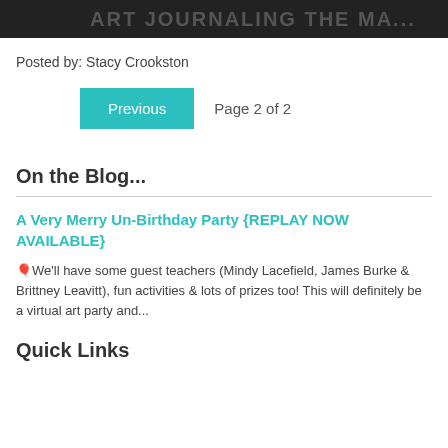[Figure (other): Dark banner with partially visible text 'ART JOURNALING THE MA...' in gray letters]
Posted by: Stacy Crookston
Previous   Page 2 of 2
On the Blog...
A Very Merry Un-Birthday Party {REPLAY NOW AVAILABLE}
🎈We'll have some guest teachers (Mindy Lacefield, James Burke & Brittney Leavitt), fun activities & lots of prizes too! This will definitely be a virtual art party and...
Quick Links